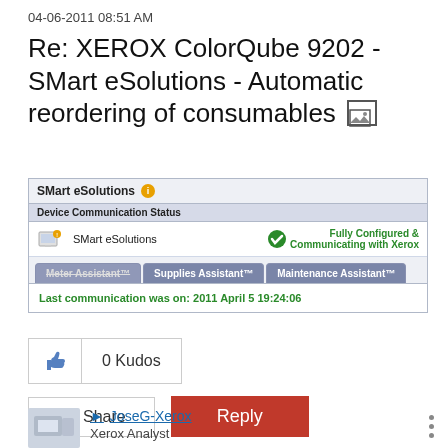04-06-2011 08:51 AM
Re: XEROX ColorQube 9202 - SMart eSolutions - Automatic reordering of consumables [image icon]
[Figure (screenshot): SMart eSolutions device communication status panel showing 'Fully Configured & Communicating with Xerox' with tabs: Meter Assistant, Supplies Assistant, Maintenance Assistant, and last communication date 2011 April 5 19:24:06]
0 Kudos
Share
Reply
JoseG-Xerox
Xerox Analyst